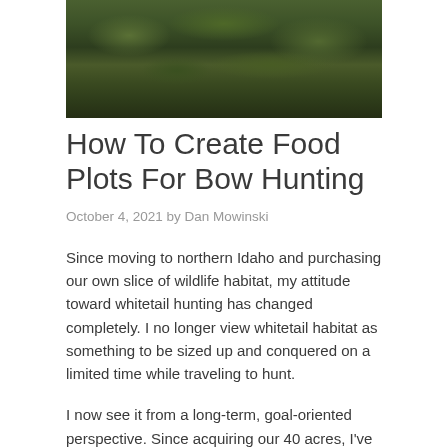[Figure (photo): Outdoor nature/wildlife habitat scene showing dense green foliage and vegetation, dark forest background]
How To Create Food Plots For Bow Hunting
October 4, 2021 by Dan Mowinski
Since moving to northern Idaho and purchasing our own slice of wildlife habitat, my attitude toward whitetail hunting has changed completely. I no longer view whitetail habitat as something to be sized up and conquered on a limited time while traveling to hunt.
I now see it from a long-term, goal-oriented perspective. Since acquiring our 40 acres, I've created two ponds to solve an obvious water shortage.